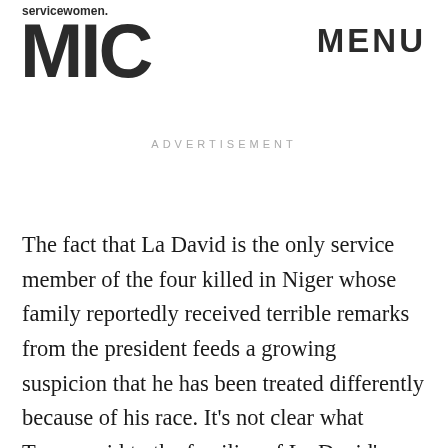servicewomen.
MIC
MENU
ADVERTISEMENT
The fact that La David is the only service member of the four killed in Niger whose family reportedly received terrible remarks from the president feeds a growing suspicion that he has been treated differently because of his race. It's not clear what Trump said to the families of La David's white fallen comrades: Bryan Black, a 35-year-old medical sergeant; Jeremiah Johnson, a 39-year-old chemical, biological, radiological